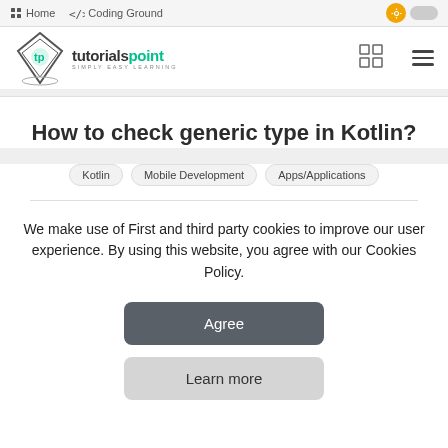Home  Coding Ground
[Figure (logo): Tutorialspoint logo with diamond shape and text 'tutorialspoint SIMPLY EASY LEARNING']
How to check generic type in Kotlin?
Kotlin  Mobile Development  Apps/Applications
We make use of First and third party cookies to improve our user experience. By using this website, you agree with our Cookies Policy.
Agree
Learn more